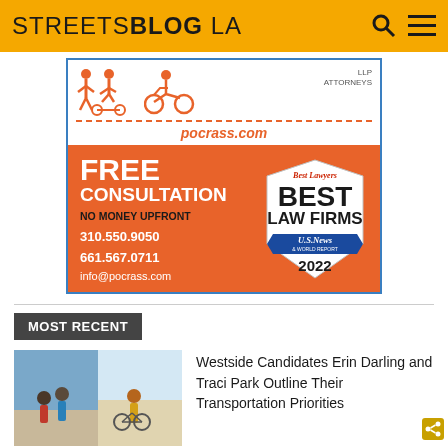STREETSBLOG LA
[Figure (illustration): Pocrass LLP Attorneys advertisement with orange icons of pedestrian, scooter rider, and cyclist, pocrass.com URL, 'FREE CONSULTATION NO MONEY UPFRONT' text, phone numbers 310.550.9050 and 661.567.0711, info@pocrass.com, and US News Best Law Firms 2022 badge]
MOST RECENT
[Figure (photo): Photo of people outdoors, one on a bicycle]
Westside Candidates Erin Darling and Traci Park Outline Their Transportation Priorities